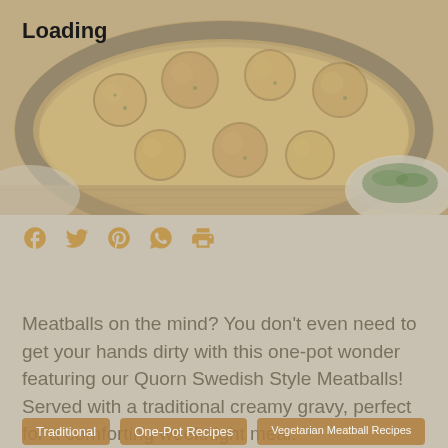[Figure (photo): A dish of Quorn Swedish Style Meatballs in a creamy gravy sauce, served in a large pan, with a side dish of green vegetables visible in the bottom right corner.]
Loading
[Figure (infographic): Social share icons: Facebook, Twitter, Pinterest, WhatsApp, Print]
Meatballs on the mind? You don’t even need to get your hands dirty with this one-pot wonder featuring our Quorn Swedish Style Meatballs! Served with a traditional creamy gravy, perfect for a comforting weeknight meal.
Traditional
One-Pot Recipes
Vegetarian Meatball Recipes